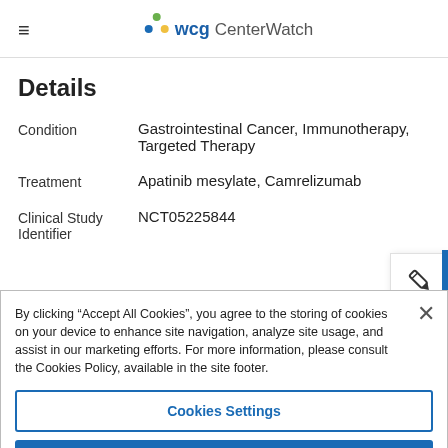WCG CenterWatch
Details
Condition	Gastrointestinal Cancer, Immunotherapy, Targeted Therapy
Treatment	Apatinib mesylate, Camrelizumab
Clinical Study Identifier	NCT05225844
By clicking “Accept All Cookies”, you agree to the storing of cookies on your device to enhance site navigation, analyze site usage, and assist in our marketing efforts. For more information, please consult the Cookies Policy, available in the site footer.
Cookies Settings
Reject All
Accept All Cookies